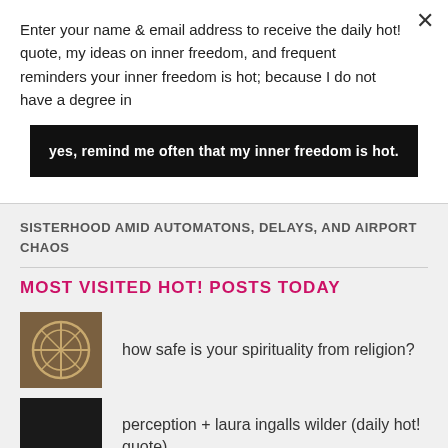Enter your name & email address to receive the daily hot! quote, my ideas on inner freedom, and frequent reminders your inner freedom is hot; because I do not have a degree in
yes, remind me often that my inner freedom is hot.
SISTERHOOD AMID AUTOMATONS, DELAYS, AND AIRPORT CHAOS
MOST VISITED HOT! POSTS TODAY
how safe is your spirituality from religion?
perception + laura ingalls wilder (daily hot! quote)